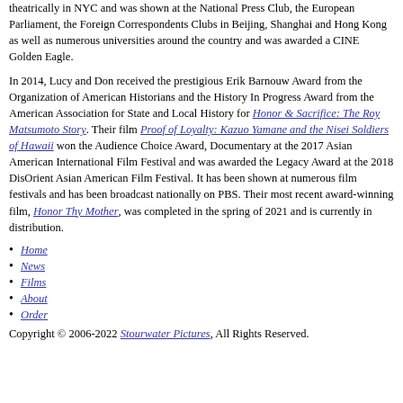theatrically in NYC and was shown at the National Press Club, the European Parliament, the Foreign Correspondents Clubs in Beijing, Shanghai and Hong Kong as well as numerous universities around the country and was awarded a CINE Golden Eagle.
In 2014, Lucy and Don received the prestigious Erik Barnouw Award from the Organization of American Historians and the History In Progress Award from the American Association for State and Local History for Honor & Sacrifice: The Roy Matsumoto Story. Their film Proof of Loyalty: Kazuo Yamane and the Nisei Soldiers of Hawaii won the Audience Choice Award, Documentary at the 2017 Asian American International Film Festival and was awarded the Legacy Award at the 2018 DisOrient Asian American Film Festival. It has been shown at numerous film festivals and has been broadcast nationally on PBS. Their most recent award-winning film, Honor Thy Mother, was completed in the spring of 2021 and is currently in distribution.
Home
News
Films
About
Order
Copyright © 2006-2022 Stourwater Pictures, All Rights Reserved.